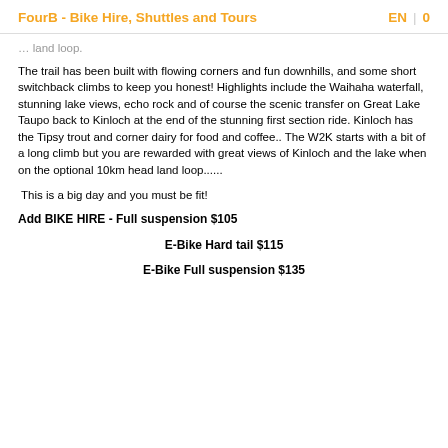FourB - Bike Hire, Shuttles and Tours | EN | 0
land loop.
The trail has been built with flowing corners and fun downhills, and some short switchback climbs to keep you honest! Highlights include the Waihaha waterfall, stunning lake views, echo rock and of course the scenic transfer on Great Lake Taupo back to Kinloch at the end of the stunning first section ride. Kinloch has the Tipsy trout and corner dairy for food and coffee.. The W2K starts with a bit of a long climb but you are rewarded with great views of Kinloch and the lake when on the optional 10km head land loop......
This is a big day and you must be fit!
Add BIKE HIRE - Full suspension $105
E-Bike Hard tail $115
E-Bike Full suspension $135